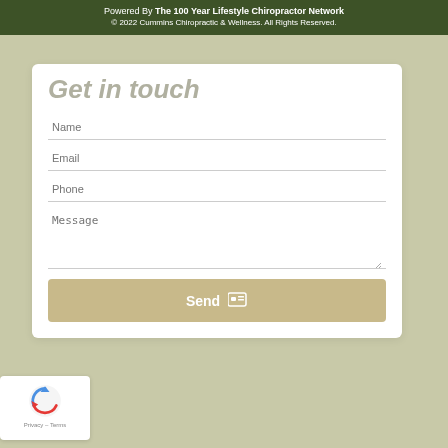Powered By The 100 Year Lifestyle Chiropractor Network
© 2022 Cummins Chiropractic & Wellness. All Rights Reserved.
Get in touch
Name
Email
Phone
Message
Send
[Figure (logo): Google reCAPTCHA badge with circular arrow logo and Privacy - Terms text]